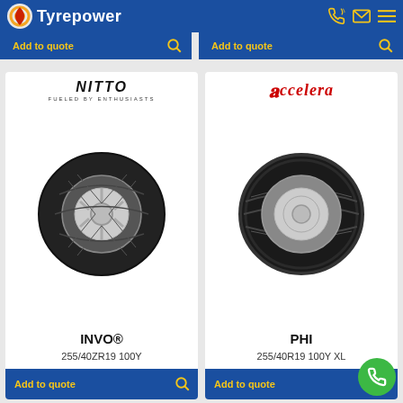Tyrepower
Add to quote
Add to quote
[Figure (photo): Nitto INVO tire product card with Nitto brand logo, tire image, product name INVO® and spec 255/40ZR19 100Y]
[Figure (photo): Accelera PHI tire product card with Accelera brand logo, tire image, product name PHI and spec 255/40R19 100Y XL]
INVO®
255/40ZR19 100Y
PHI
255/40R19 100Y XL
Add to quote
Add to quote